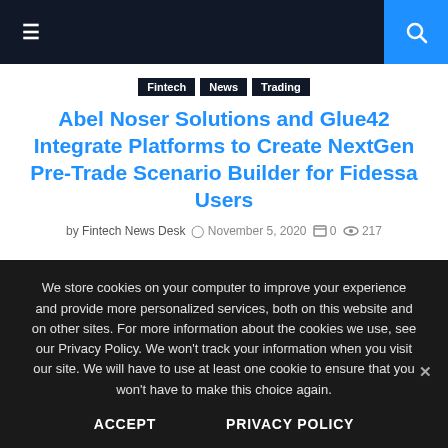≡  [search]
Abel Noser Solutions and Glue42 Integrate Platforms to Create NextGen Pre-Trade Scenario Builder for Fidessa Users
by Fintech News Desk  November 5, 2020  0  217
We store cookies on your computer to improve your experience and provide more personalized services, both on this website and on other sites. For more information about the cookies we use, see our Privacy Policy. We won't track your information when you visit our site. We will have to use at least one cookie to ensure that you won't have to make this choice again.
ACCEPT    PRIVACY POLICY